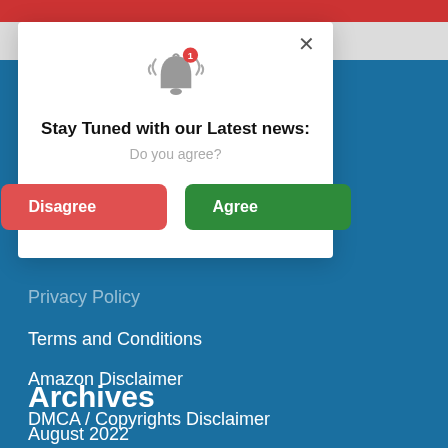[Figure (screenshot): A browser screenshot showing a blue website background with a white modal popup. The modal has a ringing bell icon with a red badge showing '1', title 'Stay Tuned with our Latest news:', subtitle 'Do you agree?', and two buttons: red 'Disagree' and green 'Agree'. Below the modal are white navigation links on the blue background: partially visible link, 'Terms and Conditions', 'Amazon Disclaimer', 'DMCA / Copyrights Disclaimer'. A section header 'Archives' and 'August 2022' are visible at the bottom.]